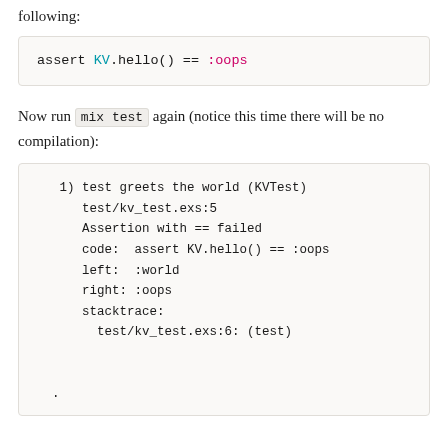following:
assert KV.hello() == :oops
Now run mix test again (notice this time there will be no compilation):
1) test greets the world (KVTest)
   test/kv_test.exs:5
   Assertion with == failed
   code:  assert KV.hello() == :oops
   left:  :world
   right: :oops
   stacktrace:
     test/kv_test.exs:6: (test)

 .